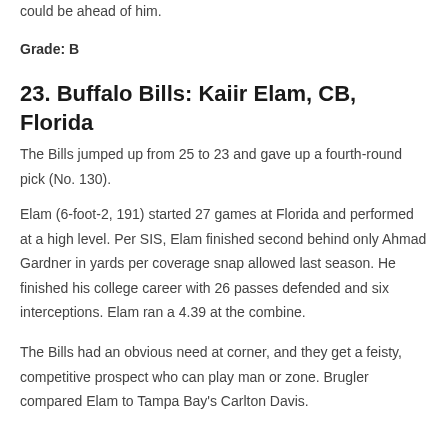could be ahead of him.
Grade: B
23. Buffalo Bills: Kaiir Elam, CB, Florida
The Bills jumped up from 25 to 23 and gave up a fourth-round pick (No. 130).
Elam (6-foot-2, 191) started 27 games at Florida and performed at a high level. Per SIS, Elam finished second behind only Ahmad Gardner in yards per coverage snap allowed last season. He finished his college career with 26 passes defended and six interceptions. Elam ran a 4.39 at the combine.
The Bills had an obvious need at corner, and they get a feisty, competitive prospect who can play man or zone. Brugler compared Elam to Tampa Bay's Carlton Davis.